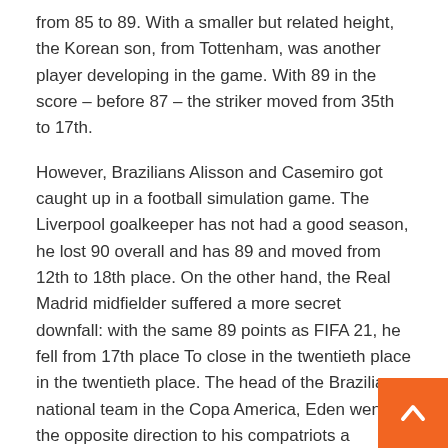from 85 to 89. With a smaller but related height, the Korean son, from Tottenham, was another player developing in the game. With 89 in the score – before 87 – the striker moved from 35th to 17th.
However, Brazilians Alisson and Casemiro got caught up in a football simulation game. The Liverpool goalkeeper has not had a good season, he lost 90 overall and has 89 and moved from 12th to 18th place. On the other hand, the Real Madrid midfielder suffered a more secret downfall: with the same 89 points as FIFA 21, he fell from 17th place To close in the twentieth place in the twentieth place. The head of the Brazilian national team in the Copa America, Eden went in the opposite direction to his compatriots and climbed four places on the list. Now he is the best number 21 in the game, the goalkeeper has 89 overall